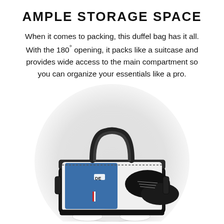AMPLE STORAGE SPACE
When it comes to packing, this duffel bag has it all. With the 180° opening, it packs like a suitcase and provides wide access to the main compartment so you can organize your essentials like a pro.
[Figure (photo): Open black duffel bag displayed from above showing interior contents including a blue shirt, sneakers, and black dress shoes inside a gray circular background]